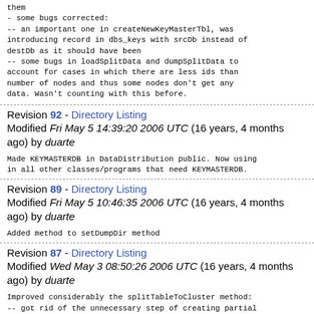them
- some bugs corrected:
-- an important one in createNewKeyMasterTbl, was introducing record in dbs_keys with srcDb instead of destDb as it should have been
-- some bugs in loadSplitData and dumpSplitData to account for cases in which there are less ids than number of nodes and thus some nodes don't get any data. Wasn't counting with this before.
Revision 92 - Directory Listing
Modified Fri May 5 14:39:20 2006 UTC (16 years, 4 months ago) by duarte
Made KEYMASTERDB in DataDistribution public. Now using
in all other classes/programs that need KEYMASTERDB.
Revision 89 - Directory Listing
Modified Fri May 5 10:46:35 2006 UTC (16 years, 4 months ago) by duarte
Added method to setDumpDir method
Revision 87 - Directory Listing
Modified Wed May 3 08:50:26 2006 UTC (16 years, 4 months ago) by duarte
Improved considerably the splitTableToCluster method:
-- got rid of the unnecessary step of creating partial